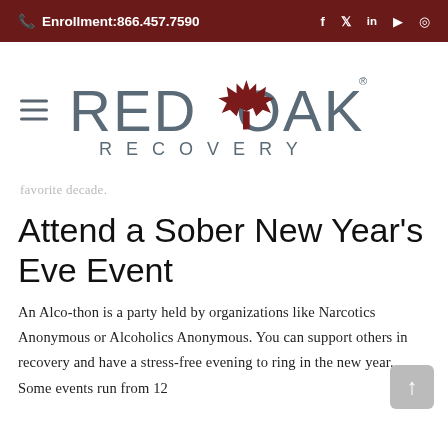Enrollment:866.457.7590
[Figure (logo): Red Oak Recovery logo with red maple leaf between RED and OAK text, RECOVERY below]
favorite decade.
Attend a Sober New Year's Eve Event
An Alco-thon is a party held by organizations like Narcotics Anonymous or Alcoholics Anonymous. You can support others in recovery and have a stress-free evening to ring in the new year. Some events run from 12